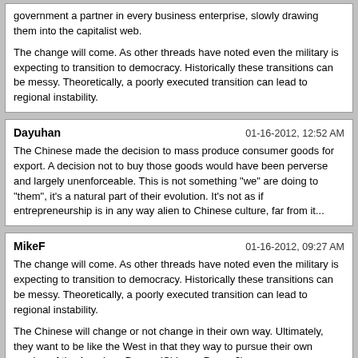government a partner in every business enterprise, slowly drawing them into the capitalist web.

The change will come. As other threads have noted even the military is expecting to transition to democracy. Historically these transitions can be messy. Theoretically, a poorly executed transition can lead to regional instability.
Dayuhan	01-16-2012, 12:52 AM
The Chinese made the decision to mass produce consumer goods for export. A decision not to buy those goods would have been perverse and largely unenforceable. This is not something "we" are doing to "them", it's a natural part of their evolution. It's not as if entrepreneurship is in any way alien to Chinese culture, far from it...
MikeF	01-16-2012, 09:27 AM
The change will come. As other threads have noted even the military is expecting to transition to democracy. Historically these transitions can be messy. Theoretically, a poorly executed transition can lead to regional instability.

The Chinese will change or not change in their own way. Ultimately, they want to be like the West in that they way to pursue their own version of the American Dream (Chinese Dream?).

Another way to look at the issue is to recognize that we have two major problems in understanding China.

1. Sourcing. A lot of U.S. and western understanding about China is viewed from a Taiwanese lens. This lens is skewed toward a particular ideology.

2. Mass. China is huge. What looks like a riot at an Apple store may actually be normal for the way things work in an urban environment.